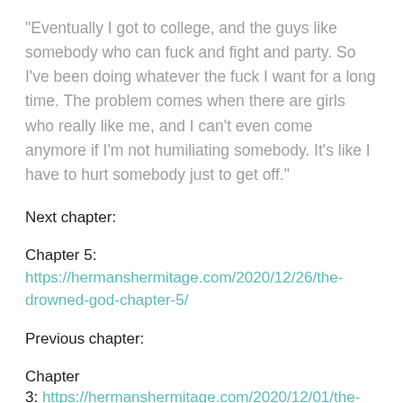“Eventually I got to college, and the guys like somebody who can fuck and fight and party. So I’ve been doing whatever the fuck I want for a long time. The problem comes when there are girls who really like me, and I can’t even come anymore if I’m not humiliating somebody. It’s like I have to hurt somebody just to get off.”
Next chapter:
Chapter 5:
https://hermanshermitage.com/2020/12/26/the-drowned-god-chapter-5/
Previous chapter:
Chapter 3: https://hermanshermitage.com/2020/12/01/the-